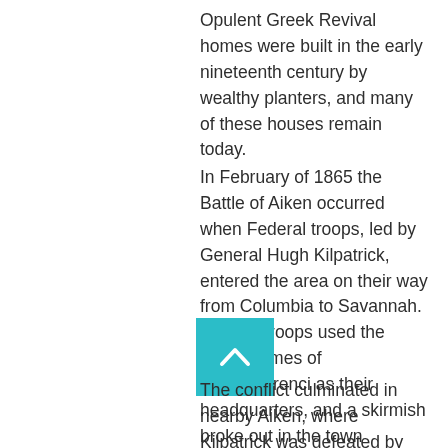Opulent Greek Revival homes were built in the early nineteenth century by wealthy planters, and many of these houses remain today.
In February of 1865 the Battle of Aiken occurred when Federal troops, led by General Hugh Kilpatrick, entered the area on their way from Columbia to Savannah. Federal troops used the grand homes of Montemorenci as their headquarters, and a skirmish broke out in the town between Kilpatrick and the Confederate General Joseph Wheeler.
[Figure (other): Teal/cyan colored scroll-to-top button with upward chevron arrow icon]
The conflict culminated in nearby Aiken, where Kilpatrick was defeated by Wheeler and his men, giving the Confederacy a minor victory. The